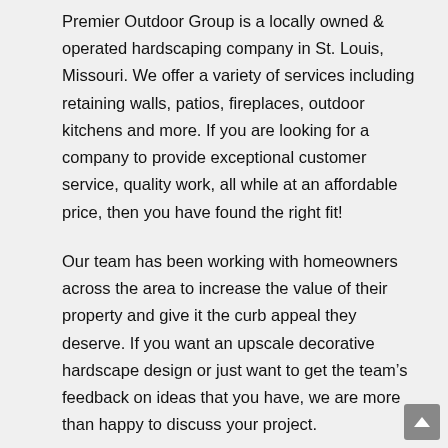Premier Outdoor Group is a locally owned & operated hardscaping company in St. Louis, Missouri. We offer a variety of services including retaining walls, patios, fireplaces, outdoor kitchens and more. If you are looking for a company to provide exceptional customer service, quality work, all while at an affordable price, then you have found the right fit!
Our team has been working with homeowners across the area to increase the value of their property and give it the curb appeal they deserve. If you want an upscale decorative hardscape design or just want to get the team's feedback on ideas that you have, we are more than happy to discuss your project.